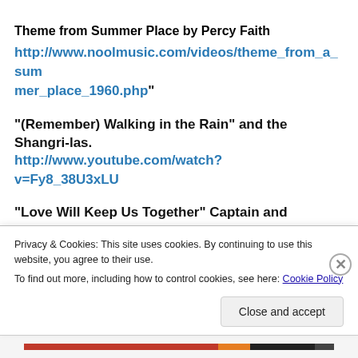Theme from Summer Place by Percy Faith
http://www.noolmusic.com/videos/theme_from_a_summer_place_1960.php"
“(Remember) Walking in the Rain” and the Shangri-las.          http://www.youtube.com/watch?v=Fy8_38U3xLU
“Love Will Keep Us Together” Captain and
Privacy & Cookies: This site uses cookies. By continuing to use this website, you agree to their use.
To find out more, including how to control cookies, see here: Cookie Policy
Close and accept